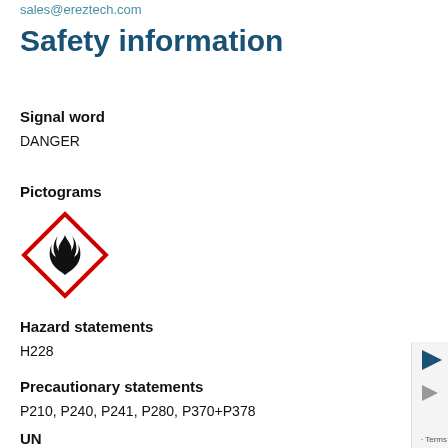sales@ereztech.com
Safety information
Signal word
DANGER
Pictograms
[Figure (illustration): GHS flammable pictogram: red diamond border with black flame symbol inside on white background]
Hazard statements
H228
Precautionary statements
P210, P240, P241, P280, P370+P378
UN
3089